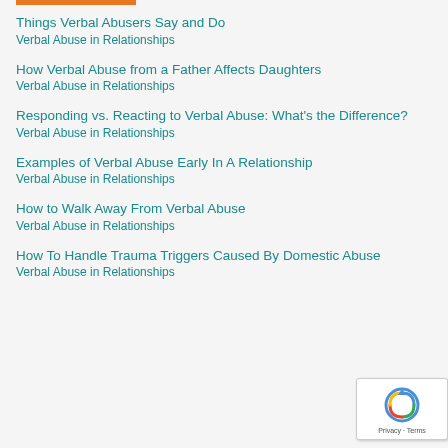Things Verbal Abusers Say and Do
Verbal Abuse in Relationships
How Verbal Abuse from a Father Affects Daughters
Verbal Abuse in Relationships
Responding vs. Reacting to Verbal Abuse: What's the Difference?
Verbal Abuse in Relationships
Examples of Verbal Abuse Early In A Relationship
Verbal Abuse in Relationships
How to Walk Away From Verbal Abuse
Verbal Abuse in Relationships
How To Handle Trauma Triggers Caused By Domestic Abuse
Verbal Abuse in Relationships